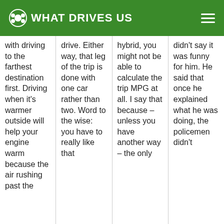WHAT DRIVES US
with driving to the farthest destination first. Driving when it's warmer outside will help your engine warm because the air rushing past the
drive. Either way, that leg of the trip is done with one car rather than two. Word to the wise: you have to really like that
hybrid, you might not be able to calculate the trip MPG at all. I say that because – unless you have another way – the only
didn't say it was funny for him. He said that once he explained what he was doing, the policemen didn't